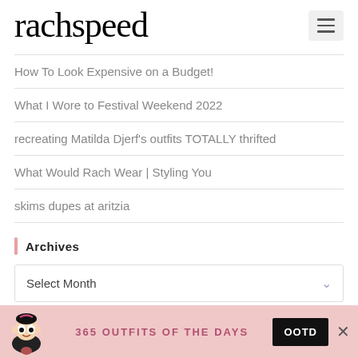rachspeed
How To Look Expensive on a Budget!
What I Wore to Festival Weekend 2022
recreating Matilda Djerf's outfits TOTALLY thrifted
What Would Rach Wear | Styling You
skims dupes at aritzia
Archives
Select Month
365 OUTFITS OF THE DAYS
OOTD